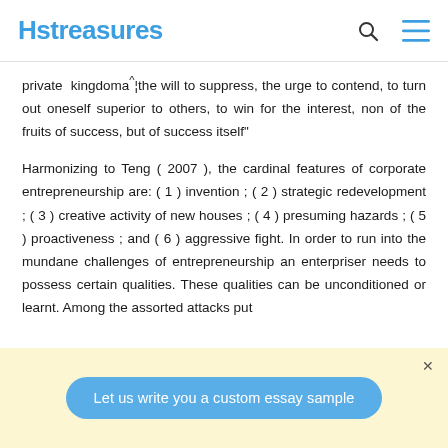Hstreasures
private kingdomaˆ¦the will to suppress, the urge to contend, to turn out oneself superior to others, to win for the interest, non of the fruits of success, but of success itself”
Harmonizing to Teng ( 2007 ), the cardinal features of corporate entrepreneurship are: ( 1 ) invention ; ( 2 ) strategic redevelopment ; ( 3 ) creative activity of new houses ; ( 4 ) presuming hazards ; ( 5 ) proactiveness ; and ( 6 ) aggressive fight. In order to run into the mundane challenges of entrepreneurship an enterpriser needs to possess certain qualities. These qualities can be unconditioned or learnt. Among the assorted attacks put
Let us write you a custom essay sample